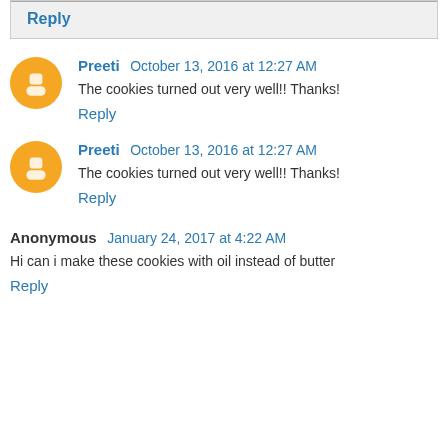will come out good.
Reply
Preeti  October 13, 2016 at 12:27 AM
The cookies turned out very well!! Thanks!
Reply
Preeti  October 13, 2016 at 12:27 AM
The cookies turned out very well!! Thanks!
Reply
Anonymous  January 24, 2017 at 4:22 AM
Hi can i make these cookies with oil instead of butter
Reply